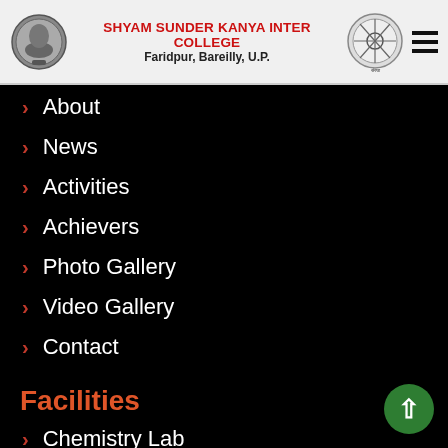SHYAM SUNDER KANYA INTER COLLEGE Faridpur, Bareilly, U.P.
About
News
Activities
Achievers
Photo Gallery
Video Gallery
Contact
Facilities
Chemistry Lab